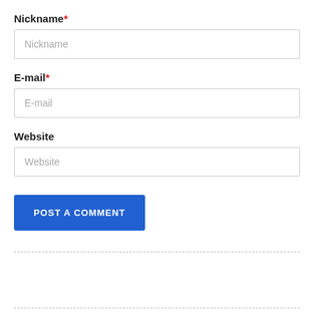Nickname *
Nickname (placeholder)
E-mail *
E-mail (placeholder)
Website
Website (placeholder)
POST A COMMENT